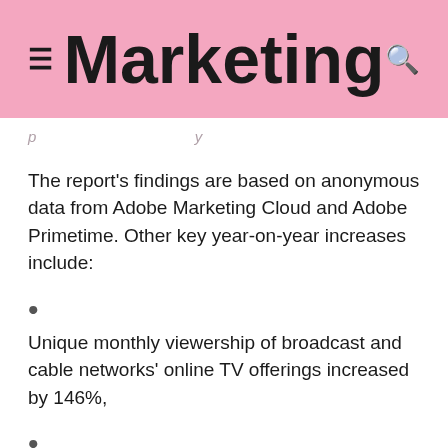Marketing
The report's findings are based on anonymous data from Adobe Marketing Cloud and Adobe Primetime. Other key year-on-year increases include:
Unique monthly viewership of broadcast and cable networks' online TV offerings increased by 146%,
the amount of online TV content viewed per person grew by 55%,
Game consoles and OTT devices grew 194%, the